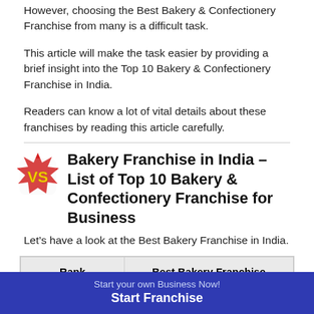However, choosing the Best Bakery & Confectionery Franchise from many is a difficult task.
This article will make the task easier by providing a brief insight into the Top 10 Bakery & Confectionery Franchise in India.
Readers can know a lot of vital details about these franchises by reading this article carefully.
Bakery Franchise in India – List of Top 10 Bakery & Confectionery Franchise for Business
Let’s have a look at the Best Bakery Franchise in India.
| Rank | Best Bakery Franchise |
| --- | --- |
Start your own Business Now!
Start Franchise